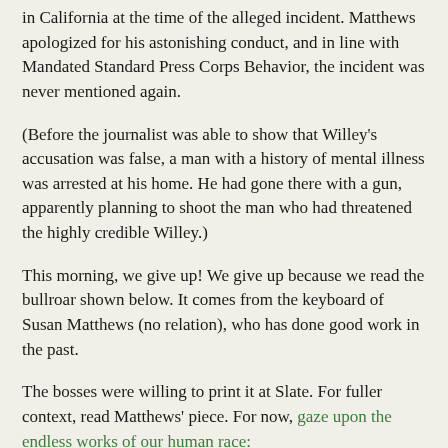in California at the time of the alleged incident. Matthews apologized for his astonishing conduct, and in line with Mandated Standard Press Corps Behavior, the incident was never mentioned again.
(Before the journalist was able to show that Willey's accusation was false, a man with a history of mental illness was arrested at his home. He had gone there with a gun, apparently planning to shoot the man who had threatened the highly credible Willey.)
This morning, we give up! We give up because we read the bullroar shown below. It comes from the keyboard of Susan Matthews (no relation), who has done good work in the past.
The bosses were willing to print it at Slate. For fuller context, read Matthews' piece. For now, gaze upon the endless works of our human race:
MATTHEWS (5/5/20): And, more relevantly, the 25-year window does not reach back to 1993, when Biden’s then-interns recall Tara Reade being abruptly removed from her duties as their supervisor, and when